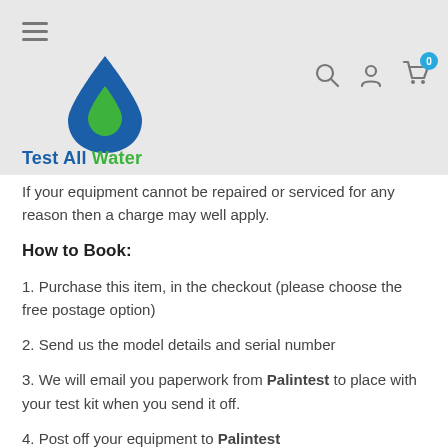[Figure (logo): Test All Water logo — blue water drop with green inner drop, and 'Test All Water' brand name below]
If your equipment cannot be repaired or serviced for any reason then a charge may well apply.
How to Book:
1. Purchase this item, in the checkout (please choose the free postage option)
2. Send us the model details and serial number
3. We will email you paperwork from Palintest to place with your test kit when you send it off.
4. Post off your equipment to Palintest